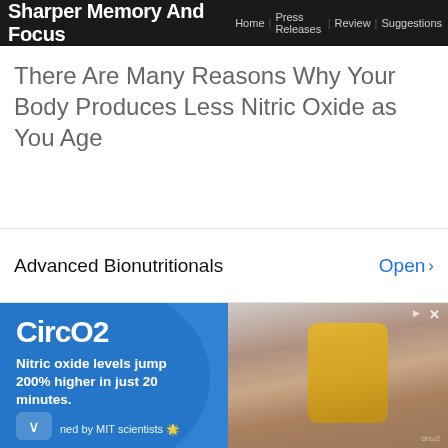Sharper Memory And Focus | Home | Press Releases | Review | Suggestions
There Are Many Reasons Why Your Body Produces Less Nitric Oxide as You Age
[Figure (screenshot): Advanced Bionutritionals app banner with Open button]
[Figure (infographic): CircO2 advertisement: blue background with child on grandfather's shoulders. Text: CircO2, Nitric oxide levels jump 200% higher in just 20 minutes., ned by MIT scientists]
[Figure (screenshot): Temporary Water Pump Rentals ad: Get the direct number to your nearest Xylem Rental Solutions provider. Xylem Rental Solutions. Open button.]